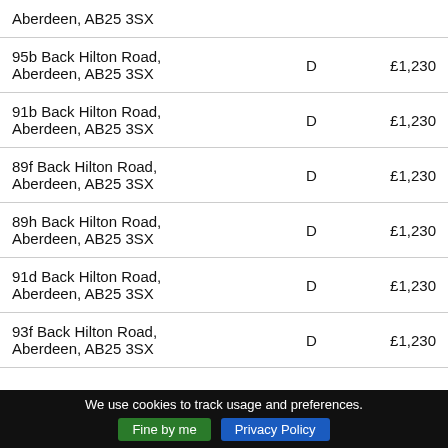| Address | Band | Amount |
| --- | --- | --- |
| Aberdeen, AB25 3SX |  |  |
| 95b Back Hilton Road, Aberdeen, AB25 3SX | D | £1,230 |
| 91b Back Hilton Road, Aberdeen, AB25 3SX | D | £1,230 |
| 89f Back Hilton Road, Aberdeen, AB25 3SX | D | £1,230 |
| 89h Back Hilton Road, Aberdeen, AB25 3SX | D | £1,230 |
| 91d Back Hilton Road, Aberdeen, AB25 3SX | D | £1,230 |
| 93f Back Hilton Road, Aberdeen, AB25 3SX | D | £1,230 |
We use cookies to track usage and preferences. Fine by me  Privacy Policy